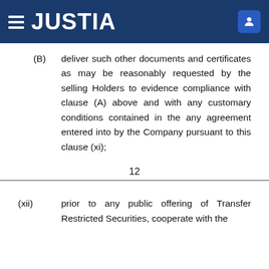JUSTIA
(B) deliver such other documents and certificates as may be reasonably requested by the selling Holders to evidence compliance with clause (A) above and with any customary conditions contained in the any agreement entered into by the Company pursuant to this clause (xi);
12
(xii) prior to any public offering of Transfer Restricted Securities, cooperate with the